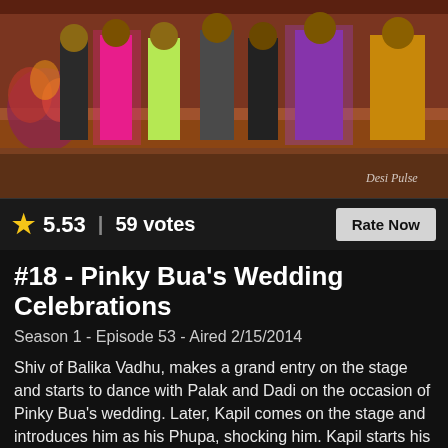[Figure (photo): Group of people standing on a decorated TV show stage wearing colorful Indian traditional outfits including pink, lime green, purple, and grey kurtas. A watermark reading 'Desi Pulse' is visible in the bottom right.]
★ 5.53 | 59 votes
Rate Now
#18 - Pinky Bua's Wedding Celebrations
Season 1 - Episode 53 - Aired 2/15/2014
Shiv of Balika Vadhu, makes a grand entry on the stage and starts to dance with Palak and Dadi on the occasion of Pinky Bua's wedding. Later, Kapil comes on the stage and introduces him as his Phupa, shocking him. Kapil starts his wisecracks and one liners, having the audience in splits. Kapil then takes the topic of boys having good physique making good husbands and asks the